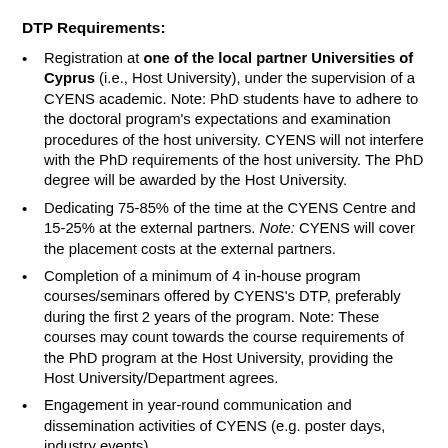DTP Requirements:
Registration at one of the local partner Universities of Cyprus (i.e., Host University), under the supervision of a CYENS academic. Note: PhD students have to adhere to the doctoral program's expectations and examination procedures of the host university. CYENS will not interfere with the PhD requirements of the host university. The PhD degree will be awarded by the Host University.
Dedicating 75-85% of the time at the CYENS Centre and 15-25% at the external partners. Note: CYENS will cover the placement costs at the external partners.
Completion of a minimum of 4 in-house program courses/seminars offered by CYENS's DTP, preferably during the first 2 years of the program. Note: These courses may count towards the course requirements of the PhD program at the Host University, providing the Host University/Department agrees.
Engagement in year-round communication and dissemination activities of CYENS (e.g. poster days, industry events)
Failure to adhere to CYENS's DTP requirements, may result in the discontinuation of the fellowship.
Eligibility Criteria